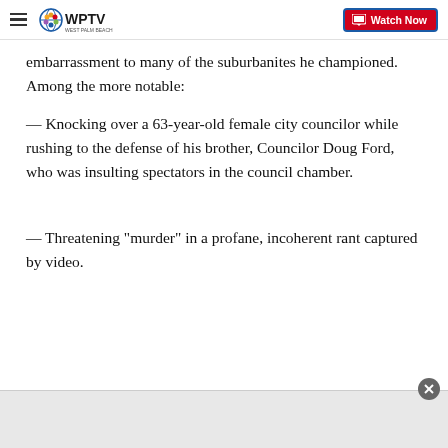WPTV | Watch Now
embarrassment to many of the suburbanites he championed. Among the more notable:
— Knocking over a 63-year-old female city councilor while rushing to the defense of his brother, Councilor Doug Ford, who was insulting spectators in the council chamber.
— Threatening "murder" in a profane, incoherent rant captured by video.